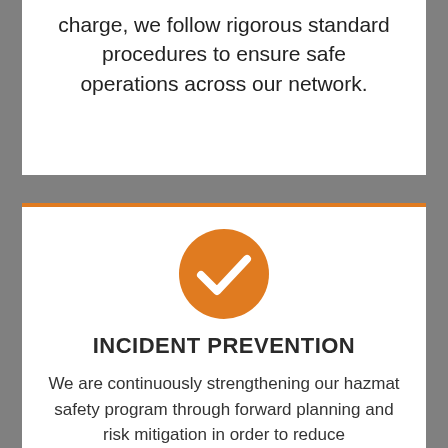charge, we follow rigorous standard procedures to ensure safe operations across our network.
[Figure (illustration): Orange circle with white checkmark icon]
INCIDENT PREVENTION
We are continuously strengthening our hazmat safety program through forward planning and risk mitigation in order to reduce